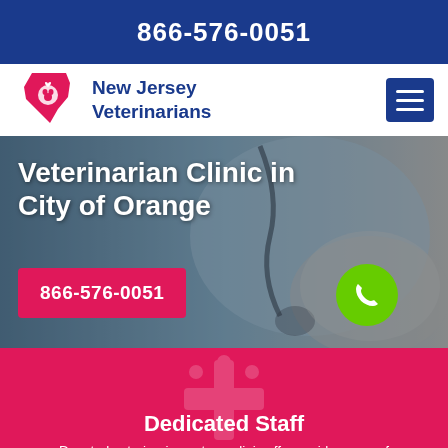866-576-0051
New Jersey Veterinarians
Veterinarian Clinic in City of Orange
866-576-0051
Dedicated Staff
Devoted veterinarians at our clinic offer a wide range of